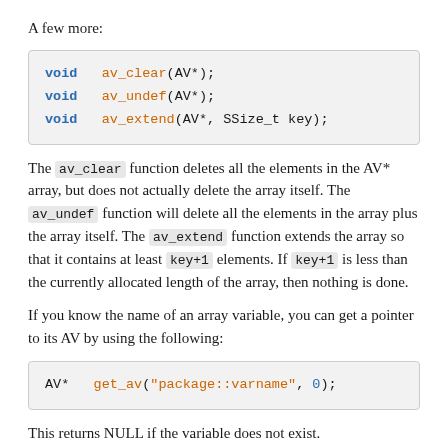A few more:
[Figure (screenshot): Code block showing: void av_clear(AV*); void av_undef(AV*); void av_extend(AV*, SSize_t key);]
The av_clear function deletes all the elements in the AV* array, but does not actually delete the array itself. The av_undef function will delete all the elements in the array plus the array itself. The av_extend function extends the array so that it contains at least key+1 elements. If key+1 is less than the currently allocated length of the array, then nothing is done.
If you know the name of an array variable, you can get a pointer to its AV by using the following:
[Figure (screenshot): Code block showing: AV* get_av("package::varname", 0);]
This returns NULL if the variable does not exist.